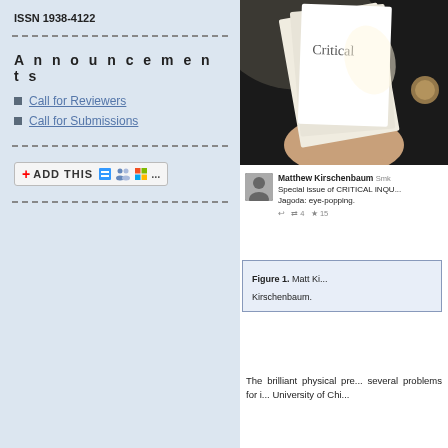ISSN 1938-4122
Announcements
Call for Reviewers
Call for Submissions
[Figure (screenshot): AddThis social sharing button widget showing a red plus icon, ADD THIS text, and social media icons]
[Figure (photo): Photo of a hand holding/flipping through pages of what appears to be a journal called Critical Inquiry, with dark background]
[Figure (screenshot): Tweet by Matthew Kirschenbaum about Special issue of CRITICAL INQUIRY by Jagoda, described as eye-popping, with 4 retweets and 15 likes]
Figure 1. Matt Ki... Kirschenbaum.
The brilliant physical pre... several problems for i... University of Chi...